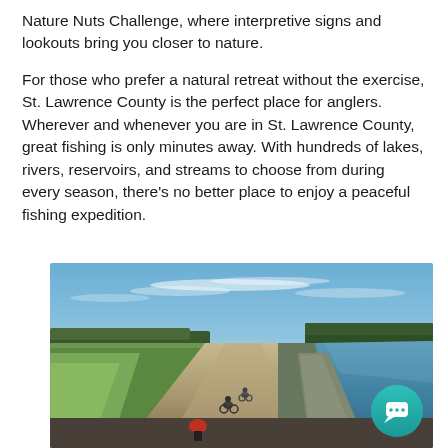Nature Nuts Challenge, where interpretive signs and lookouts bring you closer to nature.
For those who prefer a natural retreat without the exercise, St. Lawrence County is the perfect place for anglers. Wherever and whenever you are in St. Lawrence County, great fishing is only minutes away. With hundreds of lakes, rivers, reservoirs, and streams to choose from during every season, there's no better place to enjoy a peaceful fishing expedition.
[Figure (photo): Outdoor photo showing people cycling along a gravel path beside a waterway, with green banks, blue sky with clouds, and trees in the background. A teal chat button is overlaid in the bottom-right corner.]